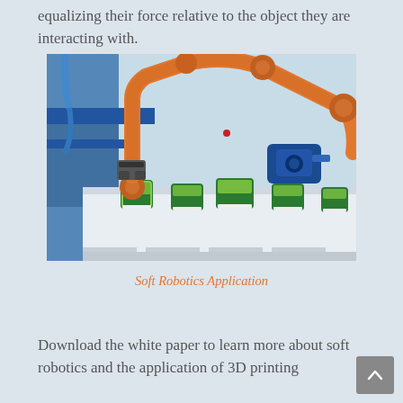equalizing their force relative to the object they are interacting with.
[Figure (photo): An orange industrial robotic arm on a conveyor belt picking up small green and yellow square containers in a factory setting with blue machinery in the background.]
Soft Robotics Application
Download the white paper to learn more about soft robotics and the application of 3D printing